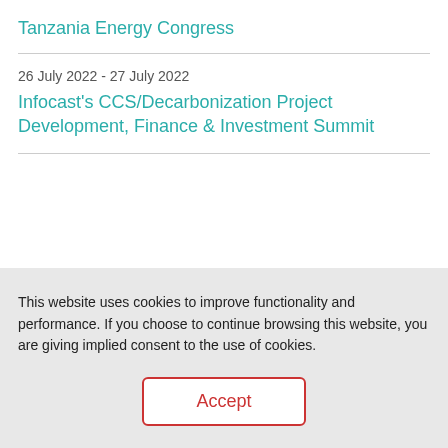Tanzania Energy Congress
26 July 2022 - 27 July 2022
Infocast's CCS/Decarbonization Project Development, Finance & Investment Summit
This website uses cookies to improve functionality and performance. If you choose to continue browsing this website, you are giving implied consent to the use of cookies.
Accept